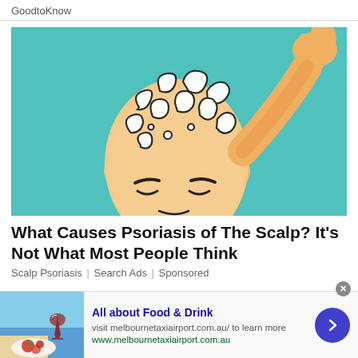GoodtoKnow
[Figure (illustration): Digital illustration of a bald person scratching their scalp with one hand raised, with swirling patterns on the head, against a teal background]
What Causes Psoriasis of The Scalp? It's Not What Most People Think
Scalp Psoriasis | Search Ads | Sponsored
[Figure (photo): Photo of food and drink - pasta dish and glass of red wine by the sea]
All about Food & Drink
visit melbournetaxiairport.com.au/ to learn more
www.melbournetaxiairport.com.au